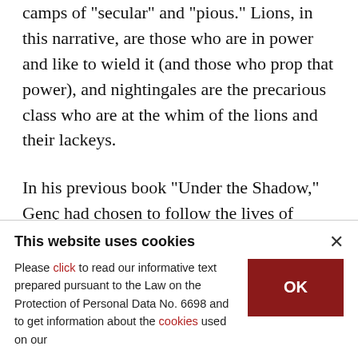camps of "secular" and "pious." Lions, in this narrative, are those who are in power and like to wield it (and those who prop that power), and nightingales are the precarious class who are at the whim of the lions and their lackeys.
In his previous book "Under the Shadow," Genç had chosen to follow the lives of Young Turks from a variety of backgrounds, to give a panorama of the sort of lives lived in a Turkey governed by President Recep Tayyip Erdoğan. In "The Lion and
This website uses cookies
Please click to read our informative text prepared pursuant to the Law on the Protection of Personal Data No. 6698 and to get information about the cookies used on our